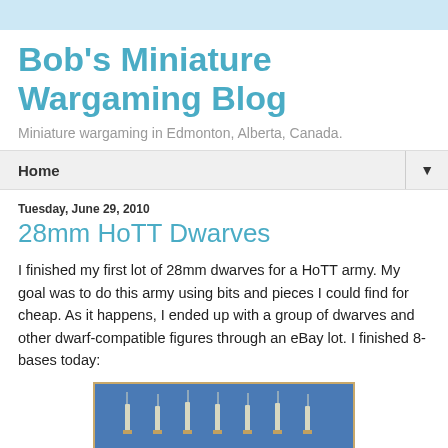Bob's Miniature Wargaming Blog
Miniature wargaming in Edmonton, Alberta, Canada.
Home
Tuesday, June 29, 2010
28mm HoTT Dwarves
I finished my first lot of 28mm dwarves for a HoTT army. My goal was to do this army using bits and pieces I could find for cheap. As it happens, I ended up with a group of dwarves and other dwarf-compatible figures through an eBay lot. I finished 8-bases today:
[Figure (photo): Photo of painted 28mm dwarf miniatures on blue background with tan border]